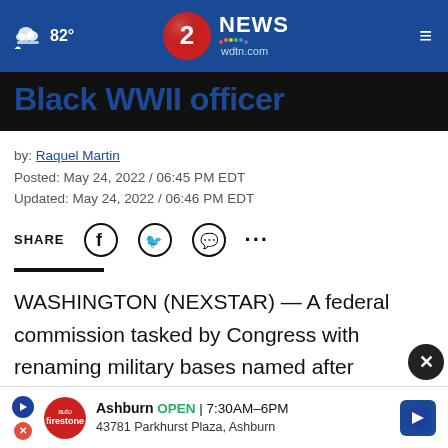82° | 2 NEWS wdtn.com
Black WWII officer
by: Raquel Martin
Posted: May 24, 2022 / 06:45 PM EDT
Updated: May 24, 2022 / 06:46 PM EDT
SHARE
WASHINGTON (NEXSTAR) — A federal commission tasked by Congress with renaming military bases named after Confederate leaders on Tuesday announced recommendations for new titles
"We'v...ny
[Figure (screenshot): Advertisement banner: Ashburn OPEN 7:30AM-6PM, 43781 Parkhurst Plaza, Ashburn with Firestone Auto logo and navigation arrow]